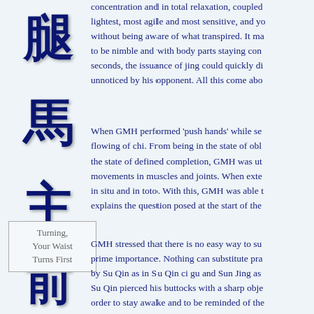[Figure (illustration): Chinese calligraphic character (腿) in dark navy blue brush style]
[Figure (illustration): Chinese calligraphic character (馬) in dark navy blue brush style]
[Figure (illustration): Chinese calligraphic character (主) in dark navy blue brush style]
concentration and in total relaxation, coupled lightest, most agile and most sensitive, and y without being aware of what transpired. It ma to be nimble and with body parts staying con seconds, the issuance of jing could quickly di unnoticed by his opponent. All this come abo
When GMH performed 'push hands' while se flowing of chi. From being in the state of obl the state of defined completion, GMH was ut movements in muscles and joints. When exte in situ and in toto. With this, GMH was able explains the question posed at the start of the
GMH stressed that there is no easy way to su prime importance. Nothing can substitute pra by Su Qin as in Su Qin ci gu and Sun Jing as Su Qin pierced his buttocks with a sharp obje order to stay awake and to be reminded of th personalities. Of the twelve Instructors Traini the training of fundamental exercises mention stopped at the first subset of the 37 Form. He (HYZZ, KHJ, and SSWF), then one's TJQJ v the number of tai chi forms to be learned.
Turning,
Your Waist
Turns First
[Figure (illustration): Chinese calligraphic character (前) in dark navy blue brush style]